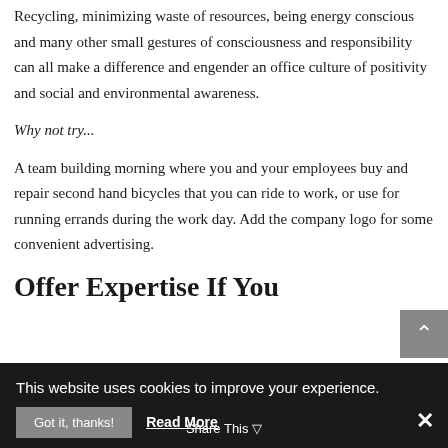Recycling, minimizing waste of resources, being energy conscious and many other small gestures of consciousness and responsibility can all make a difference and engender an office culture of positivity and social and environmental awareness.
Why not try...
A team building morning where you and your employees buy and repair second hand bicycles that you can ride to work, or use for running errands during the work day. Add the company logo for some convenient advertising.
Offer Expertise If You
This website uses cookies to improve your experience.
Got it, thanks!  Read More
Share This